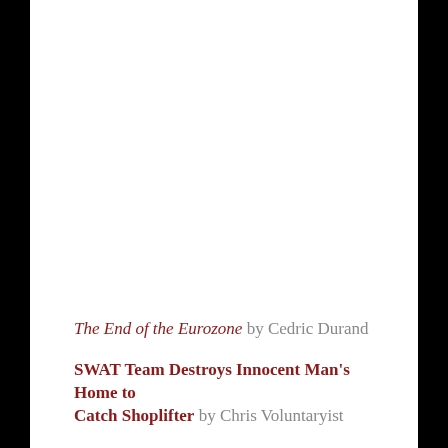The End of the Eurozone by Cedric Durand
SWAT Team Destroys Innocent Man's Home to Catch Shoplifter by Chris Voluntaryist